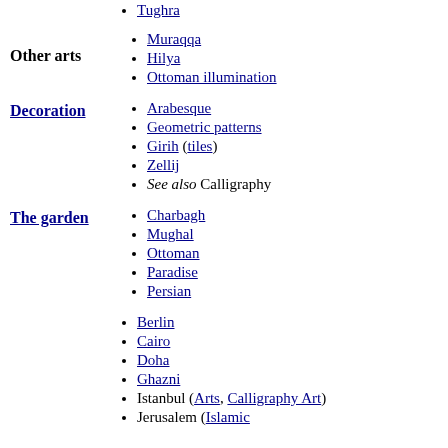Tughra
Other arts
Muraqqa
Hilya
Ottoman illumination
Decoration
Arabesque
Geometric patterns
Girih (tiles)
Zellij
See also Calligraphy
The garden
Charbagh
Mughal
Ottoman
Paradise
Persian
Berlin
Cairo
Doha
Ghazni
Istanbul (Arts, Calligraphy Art)
Jerusalem (Islamic